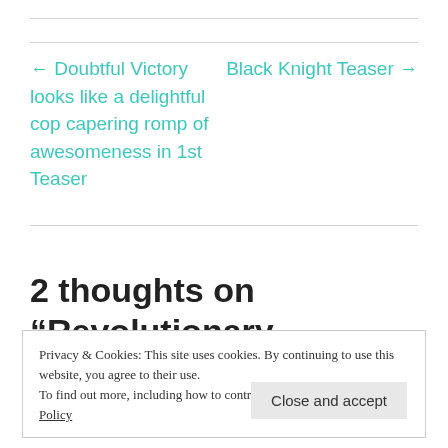← Doubtful Victory looks like a delightful cop capering romp of awesomeness in 1st Teaser
Black Knight Teaser →
2 thoughts on “Revolutionary
Privacy & Cookies: This site uses cookies. By continuing to use this website, you agree to their use.
To find out more, including how to control cookies, see here: Cookie Policy
Close and accept